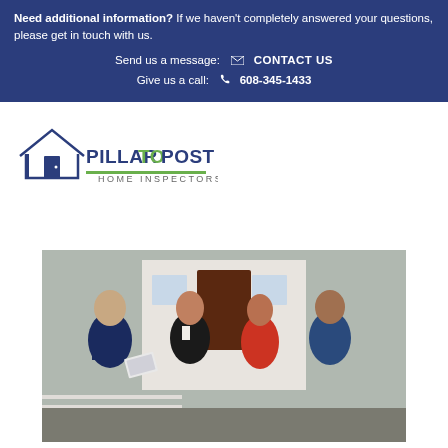Need additional information? If we haven't completely answered your questions, please get in touch with us.
Send us a message: CONTACT US
Give us a call: 608-345-1433
[Figure (logo): Pillar To Post Home Inspectors logo — house outline with door icon, blue and green branding]
[Figure (photo): Four people standing outside a house — a home inspector sharing documents with two clients and a real estate agent]